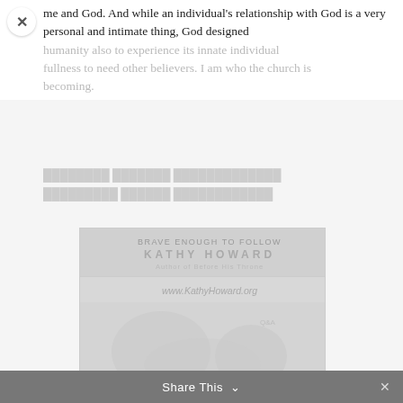me and God. And while an individual's relationship with God is a very personal and intimate thing, God designed humanity also to experience its innate individual fullness to need other believers. I am who the church is becoming.
[faded/obscured text blocks]
[Figure (photo): Book cover image with author name KATHY HOWARD, website www.KathyHoward.org, and faded imagery]
Share This ∨  ✕